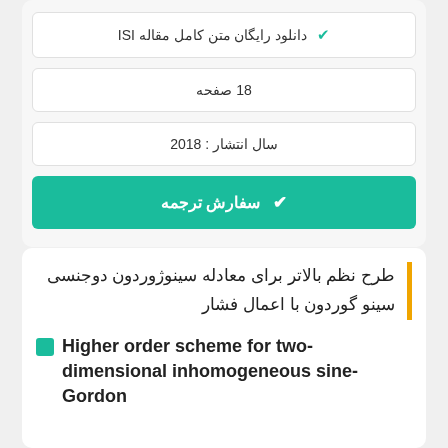✔ دانلود رایگان متن کامل مقاله ISI
18 صفحه
سال انتشار : 2018
✔ سفارش ترجمه
طرح نظم بالاتر برای معادله سینوژوردون دوجنسی سینو گوردون با اعمال فشار
Higher order scheme for two-dimensional inhomogeneous sine-Gordon